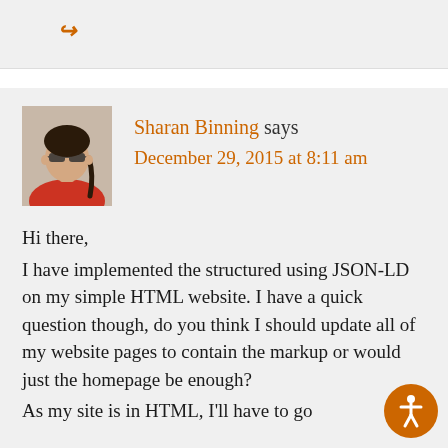Sharan Binning says
December 29, 2015 at 8:11 am
Hi there,
I have implemented the structured using JSON-LD on my simple HTML website. I have a quick question though, do you think I should update all of my website pages to contain the markup or would just the homepage be enough?
As my site is in HTML, I'll have to go